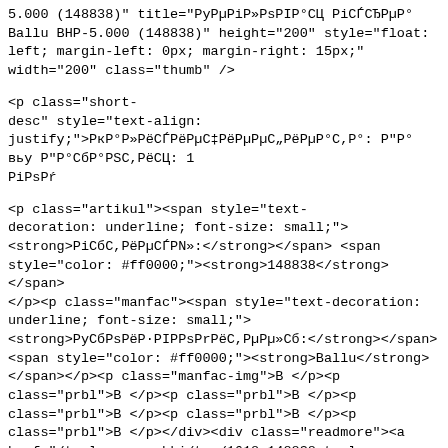5.000 (148838)" title="РуРµРiР»РsPIP°СЦ РiСЃСЂРµР°Ballu BHP-5.000 (148838)" height="200" style="float: left; margin-left: 0px; margin-right: 15px;" width="200" class="thumb" /></a></p><p class="short-desc" style="text-align: justify;">РкР°Р»РёСЃРёРµСЃРоРµС„РёРµР°С,Р°: Р"Р° вьу Р"Р°СбР°РSС,РёСЦ: 1 РiРsРrС</p><p class="artikul"><span style="text-decoration: underline; font-size: small;"><strong>РiСбС,РёРµСЃРN»:</strong></span> <span style="color: #ff0000;"><strong>148838</strong></span></p><p class="manfac"><span style="text-decoration: underline; font-size: small;"><strong>РуСбРsРёР·РIPРsРrРёС,РµРµ»Сб:</strong></span><span style="color: #ff0000;"><strong>Ballu</strong></span></span></p><p class="manfac-img">В </p><p class="prbl">В </p><p class="prbl">В </p><p class="prbl">В </p><p class="prbl">В </p><p class="prbl">В </p></div><div class="readmore"><a href="/teplovye-pushki/ten/1618-148838-teplovaya-pushka-ballu-bhp-5-000"> РуРsРrСбРsР±РSРSµРРs... </a></div></div></div><div class="column col-2"><div class="random-article  "><div class="title"><h4> <a href="/teplovye-pushki/ten/1540-148925-teplovaya-pushka-entuziast-tt-9">РуРµРiР»РsPIP°СЦ РiСЃСЂРµР° Р-РSС,РN»·РёР°СЃС, РуРу- 9 (148925)</a></h4></div><div class="introtext"><p class="img-desc"><a class="linkthumb modal" target="_blank" title="РуРµРiР»РsPIP°СЦ РiСЃСЂРµР° РРSС,РN»·РёР°СЃС, РуРу- 9 (148925)" href="/images/product/teplovaya_pushka_entuziast_tt-